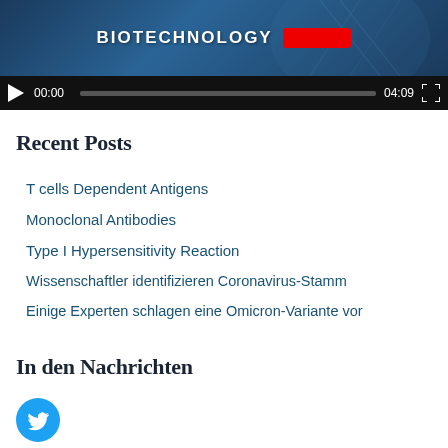[Figure (screenshot): Video player showing 'BIOTECHNOLOGY' title with DNA background, play button, progress bar showing 00:00 / 04:09, and fullscreen button]
Recent Posts
T cells Dependent Antigens
Monoclonal Antibodies
Type I Hypersensitivity Reaction
Wissenschaftler identifizieren Coronavirus-Stamm
Einige Experten schlagen eine Omicron-Variante vor
In den Nachrichten
[Figure (logo): Twitter bird logo circle icon (partial)]